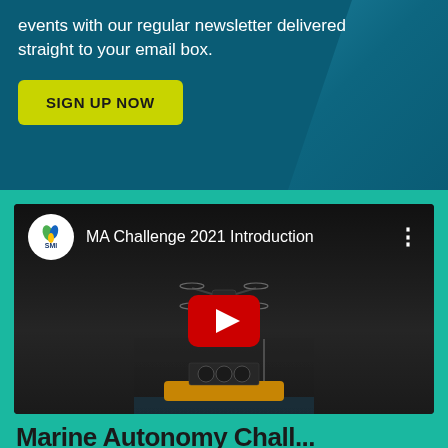events with our regular newsletter delivered straight to your email box.
SIGN UP NOW
[Figure (screenshot): YouTube video thumbnail for 'MA Challenge 2021 Introduction' showing an SMI logo, video title, three-dot menu, a drone flying over water, a yellow boat with equipment, and a red YouTube play button in the center.]
Marine Autonomy Chall...